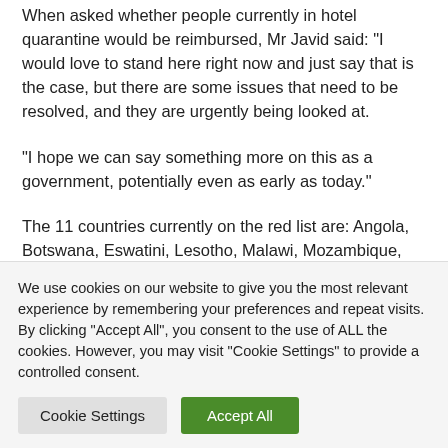When asked whether people currently in hotel quarantine would be reimbursed, Mr Javid said: "I would love to stand here right now and just say that is the case, but there are some issues that need to be resolved, and they are urgently being looked at.
“I hope we can say something more on this as a government, potentially even as early as today.”
The 11 countries currently on the red list are: Angola, Botswana, Eswatini, Lesotho, Malawi, Mozambique, Namibia...
We use cookies on our website to give you the most relevant experience by remembering your preferences and repeat visits. By clicking "Accept All", you consent to the use of ALL the cookies. However, you may visit "Cookie Settings" to provide a controlled consent.